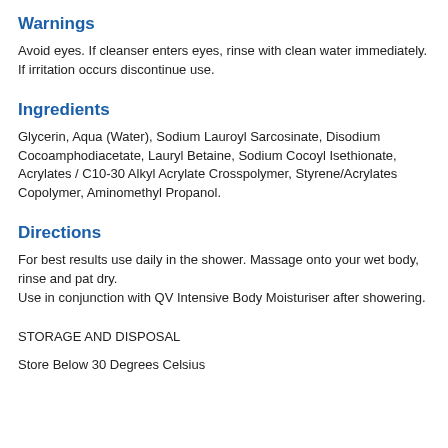Warnings
Avoid eyes. If cleanser enters eyes, rinse with clean water immediately. If irritation occurs discontinue use.
Ingredients
Glycerin, Aqua (Water), Sodium Lauroyl Sarcosinate, Disodium Cocoamphodiacetate, Lauryl Betaine, Sodium Cocoyl Isethionate, Acrylates / C10-30 Alkyl Acrylate Crosspolymer, Styrene/Acrylates Copolymer, Aminomethyl Propanol.
Directions
For best results use daily in the shower. Massage onto your wet body, rinse and pat dry.
Use in conjunction with QV Intensive Body Moisturiser after showering.
STORAGE AND DISPOSAL
Store Below 30 Degrees Celsius